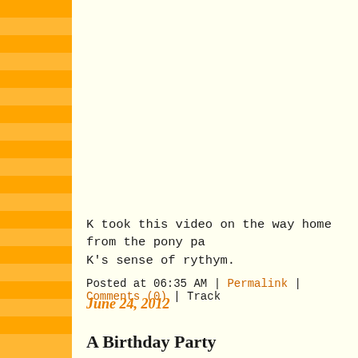[Figure (illustration): Left sidebar with alternating orange and light orange horizontal stripes running the full height of the page]
K took this video on the way home from the pony pa K's sense of rythym.
Posted at 06:35 AM | Permalink | Comments (0) | Track
June 24, 2012
A Birthday Party